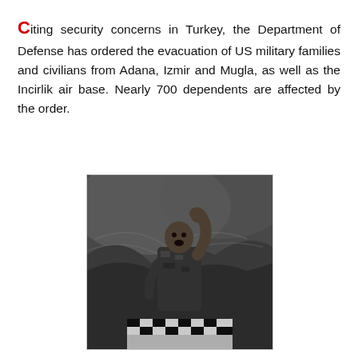Citing security concerns in Turkey, the Department of Defense has ordered the evacuation of US military families and civilians from Adana, Izmir and Mugla, as well as the Incirlik air base. Nearly 700 dependents are affected by the order.
[Figure (photo): Black and white photograph of a person in military camouflage uniform, appearing distressed or shouting, with arm raised, against a dramatic aerial or textured landscape background. A checkered flag or banner is visible at the bottom of the image.]